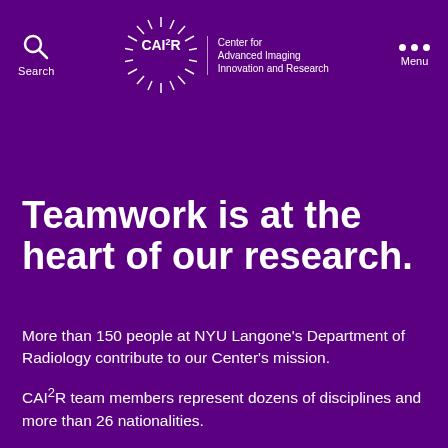CAI²R | Center for Advanced Imaging Innovation and Research
Teamwork is at the heart of our research.
More than 150 people at NYU Langone's Department of Radiology contribute to our Center's mission.
CAI²R team members represent dozens of disciplines and more than 26 nationalities.